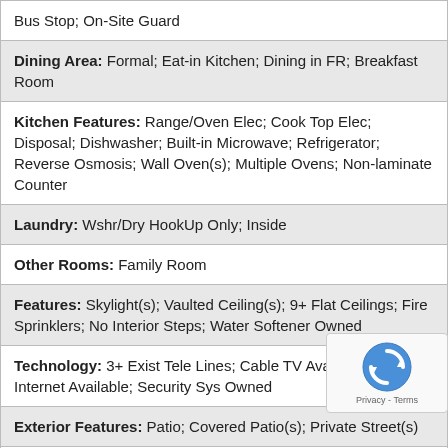Bus Stop; On-Site Guard
Dining Area: Formal; Eat-in Kitchen; Dining in FR; Breakfast Room
Kitchen Features: Range/Oven Elec; Cook Top Elec; Disposal; Dishwasher; Built-in Microwave; Refrigerator; Reverse Osmosis; Wall Oven(s); Multiple Ovens; Non-laminate Counter
Laundry: Wshr/Dry HookUp Only; Inside
Other Rooms: Family Room
Features: Skylight(s); Vaulted Ceiling(s); 9+ Flat Ceilings; Fire Sprinklers; No Interior Steps; Water Softener Owned
Technology: 3+ Exist Tele Lines; Cable TV Avail; High Speed Internet Available; Security Sys Owned
Exterior Features: Patio; Covered Patio(s); Private Street(s)
Parking Features: Attch'd Gar Cabinets; Dir Entry frm Garage; Electric Door Opener